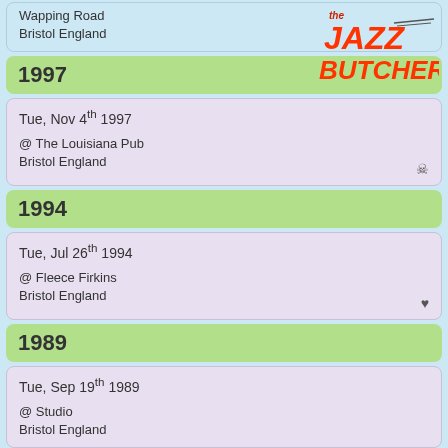Wapping Road
Bristol England
1997
Tue, Nov 4th 1997
@ The Louisiana Pub
Bristol England
1994
Tue, Jul 26th 1994
@ Fleece Firkins
Bristol England
1989
Tue, Sep 19th 1989
@ Studio
Bristol England